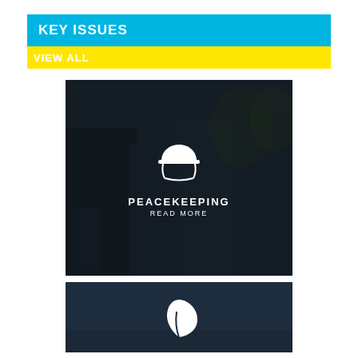KEY ISSUES
VIEW ALL
[Figure (photo): Dark photo of UN peacekeeping soldiers on patrol with a child, overlaid with a white military helmet icon and the text PEACEKEEPING / READ MORE]
[Figure (photo): Dark navy card partially visible at bottom, showing a white leaf/environment icon]